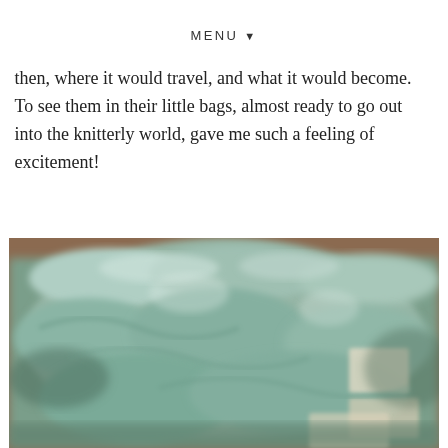MENU ▼
then, where it would travel, and what it would become. To see them in their little bags, almost ready to go out into the knitterly world, gave me such a feeling of excitement!
[Figure (photo): Close-up photo of skeins of teal/sage green yarn bundled together in clear plastic bags, slightly blurred, showing the texture and color of hand-dyed yarn skeins]